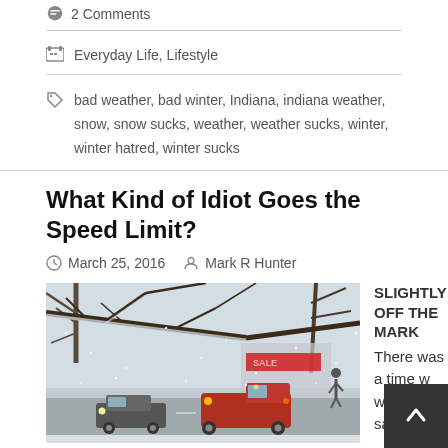2 Comments
Everyday Life, Lifestyle
bad weather, bad winter, Indiana, indiana weather, snow, snow sucks, weather, weather sucks, winter, winter hatred, winter sucks
What Kind of Idiot Goes the Speed Limit?
March 25, 2016   Mark R Hunter
[Figure (photo): Photo of vehicles including a tow truck on a snow-covered road during heavy snowfall, with snow-laden tree branches overhead and a building with red sign in background.]
SLIGHTLY OFF THE MARK There was a time w was the same